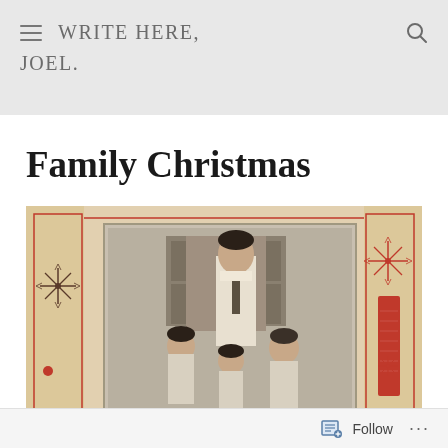WRITE HERE, JOEL.
Family Christmas
[Figure (photo): A vintage black-and-white family photograph mounted inside a Christmas card with decorative red embroidered or printed border featuring star/snowflake designs. The photo shows four people — a tall young man in a white shirt and tie standing at the back, with three younger children in front.]
Follow